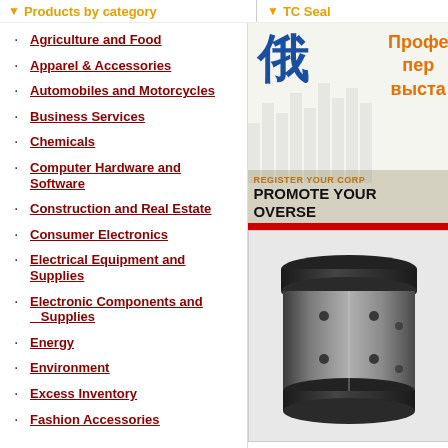Products by category
TC Seal
Agriculture and Food
Apparel & Accessories
Automobiles and Motorcycles
Business Services
Chemicals
Computer Hardware and Software
Construction and Real Estate
Consumer Electronics
Electrical Equipment and Supplies
Electronic Components and Supplies
Energy
Environment
Excess Inventory
Fashion Accessories
[Figure (illustration): Advertisement banner with Chinese character, Russian text (Профе пер выста), and text REGISTER YOUR CORP PROMOTE YOUR OVERSE]
[Figure (photo): Product photo of a cylindrical TC seal mechanical component, metallic grey/black finish with holes]